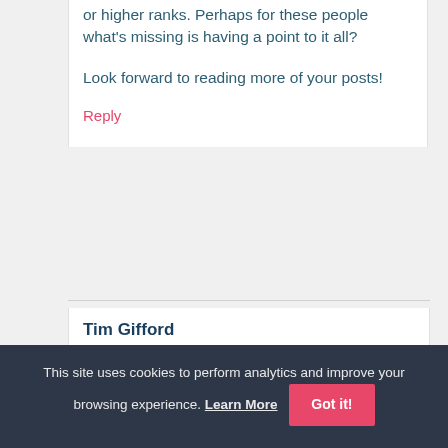or higher ranks. Perhaps for these people what's missing is having a point to it all?
Look forward to reading more of your posts!
Reply
Tim Gifford
June 2, 2013 at 7:00 pm
This site uses cookies to perform analytics and improve your browsing experience. Learn More Got it!